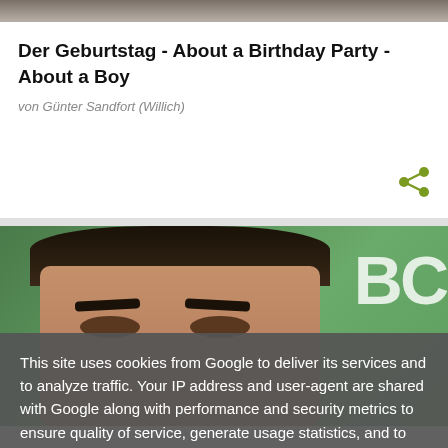[Figure (photo): Top portion of a person's head/face photo, cropped at top]
Der Geburtstag - About a Birthday Party - About a Boy
von Günter Sandfort (Willich)
[Figure (photo): Photo of a dark-haired man at an NBC event with green background, cropped to show eyes and hair]
This site uses cookies from Google to deliver its services and to analyze traffic. Your IP address and user-agent are shared with Google along with performance and security metrics to ensure quality of service, generate usage statistics, and to detect and address abuse.
LEARN MORE    OK